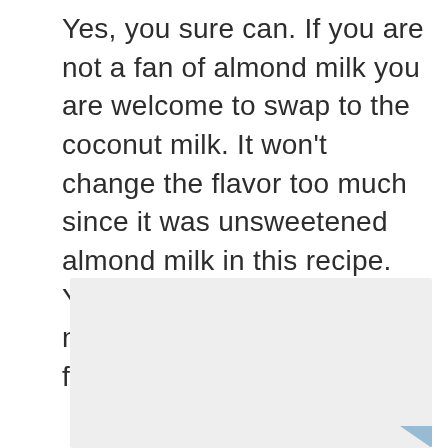Yes, you sure can. If you are not a fan of almond milk you are welcome to swap to the coconut milk. It won't change the flavor too much since it was unsweetened almond milk in this recipe. You can still gain the nutrients your body needs for the keto flu side effects.
[Figure (photo): A light gray placeholder image with a small blue triangular arrow icon in the bottom-right corner.]